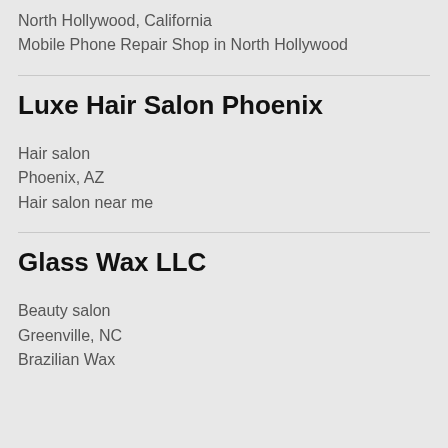North Hollywood, California
Mobile Phone Repair Shop in North Hollywood
Luxe Hair Salon Phoenix
Hair salon
Phoenix, AZ
Hair salon near me
Glass Wax LLC
Beauty salon
Greenville, NC
Brazilian Wax